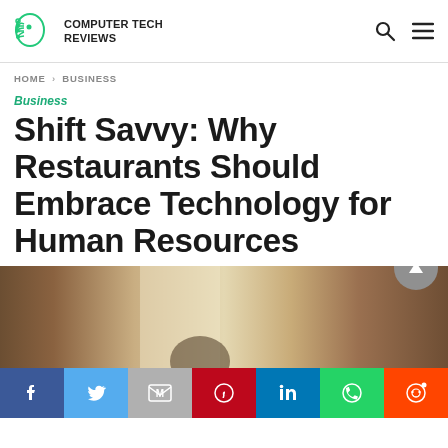COMPUTER TECH REVIEWS
HOME > BUSINESS
Business
Shift Savvy: Why Restaurants Should Embrace Technology for Human Resources
[Figure (photo): Photo of restaurant interior with warm brown and beige tones, possibly showing a person in foreground]
[Figure (infographic): Social sharing bar with Facebook, Twitter, Google Mail, Pinterest, LinkedIn, WhatsApp, Reddit buttons]